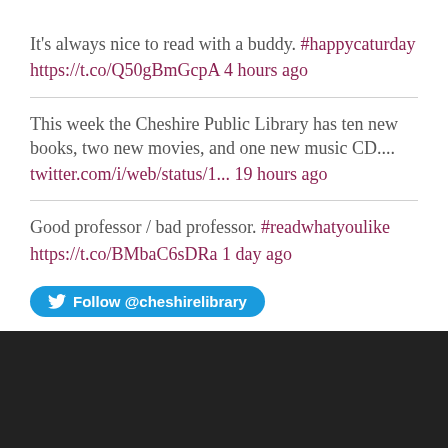It's always nice to read with a buddy. #happycaturday https://t.co/Q50gBmGcpA 4 hours ago
This week the Cheshire Public Library has ten new books, two new movies, and one new music CD.... twitter.com/i/web/status/1... 19 hours ago
Good professor / bad professor. #readwhatyoulike https://t.co/BMbaC6sDRa 1 day ago
[Figure (other): Follow @cheshirelibrary Twitter button]
WEBSITE BUILT WITH WORDPRESS.COM.